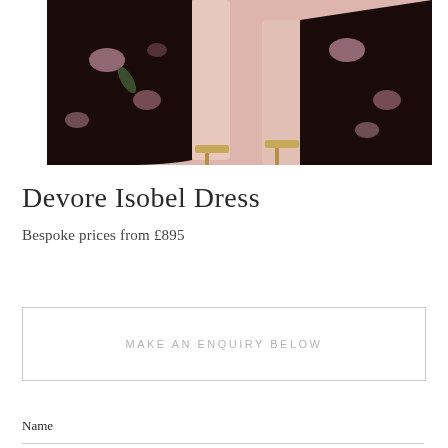[Figure (photo): Fashion photo showing lower body of a model wearing a dark floral devore dress with gold strappy heels, against a pink background]
Devore Isobel Dress
Bespoke prices from £895
MAKE AN ENQUIRY BELOW
Name